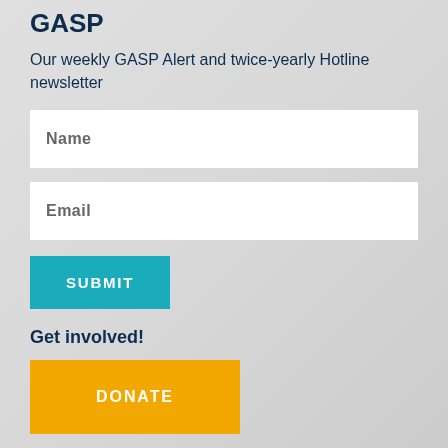GASP
Our weekly GASP Alert and twice-yearly Hotline newsletter
Name
Email
SUBMIT
Get involved!
DONATE
Get in touch!